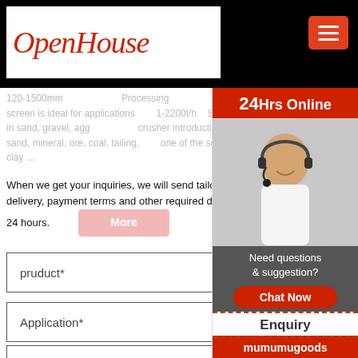OpenHouse
INQUIRY
When we get your inquiries, we will send tailored catalogue, pricelist, delivery, payment terms and other required details to you within 24 hours.
pruduct*
Application*
Capacity*
Name*
[Figure (photo): Customer service representative woman wearing headset, smiling, with 24Hrs Online label]
Need questions & suggestion?
Chat Now
Enquiry
mumumugoods